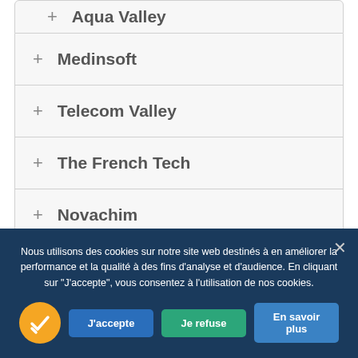+ Aqua Valley
+ Medinsoft
+ Telecom Valley
+ The French Tech
+ Novachim
The diverse range of stakeholders involved in the Smart Tech strategic sector are
Nous utilisons des cookies sur notre site web destinés à en améliorer la performance et la qualité à des fins d'analyse et d'audience. En cliquant sur "J'accepte", vous consentez à l'utilisation de nos cookies.